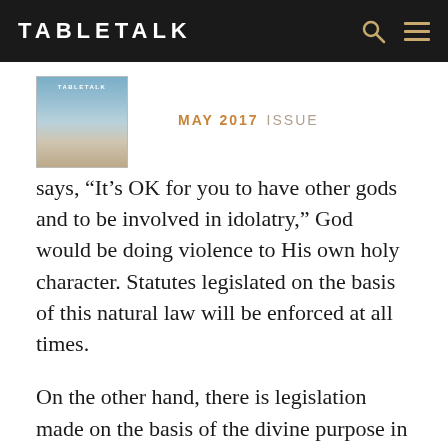TABLETALK
[Figure (illustration): Tabletalk magazine cover thumbnail with blue/sky tones]
MAY 2017 ISSUE
says, “It’s OK for you to have other gods and to be involved in idolatry,” God would be doing violence to His own holy character. Statutes legislated on the basis of this natural law will be enforced at all times.
On the other hand, there is legislation made on the basis of the divine purpose in redemption, such as the dietary laws, that when their purpose is fulfilled, God can abrogate without doing violence to His own character. I think that’s a helpful distinction. It doesn’t answer every question, but it helps us